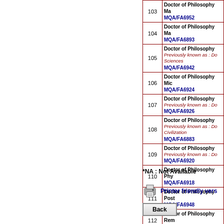| # | Programme |
| --- | --- |
| 103 | Doctor of Philosophy Ma...
MQA/FA6952 |
| 104 | Doctor of Philosophy Ma...
MQA/FA6893 |
| 105 | Doctor of Philosophy
Previously known as : Do... Sciences
MQA/FA6942 |
| 106 | Doctor of Philosophy Mic...
MQA/FA6924 |
| 107 | Doctor of Philosophy
Previously known as : Do...
MQA/FA6926 |
| 108 | Doctor of Philosophy
Previously known as : Do... Civilization
MQA/FA6883 |
| 109 | Doctor of Philosophy
Previously known as : Do...
MQA/FA6920 |
| 110 | Doctor of Philosophy Phy...
MQA/FA6918 |
| 111 | Doctor of Philosophy Post...
MQA/FA6948 |
| 112 | Doctor of Philosophy Rem...
MQA/FA6956 |
| 113 | Doctor of Philosophy Soci...
MQA/FA6895 |
| 114 | Doctor of Philosophy Zoo...
MQA/FA6954 |
*NA : Not Available
Printer friendly vers...
Back